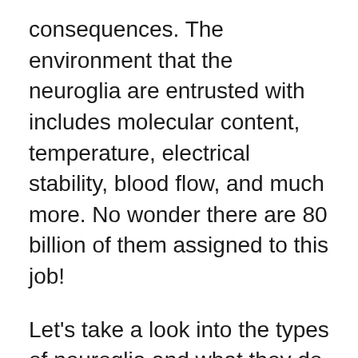consequences. The environment that the neuroglia are entrusted with includes molecular content, temperature, electrical stability, blood flow, and much more. No wonder there are 80 billion of them assigned to this job!
Let's take a look into the types of neuroglia and what they do. First of all, there are the microglia. These guys are the bodyguards of the brain. They are actually specialized macrophages, which are a part of the immune system. In the case of brain damage, they sweep the area clean of any bacteria that may have infected the site.